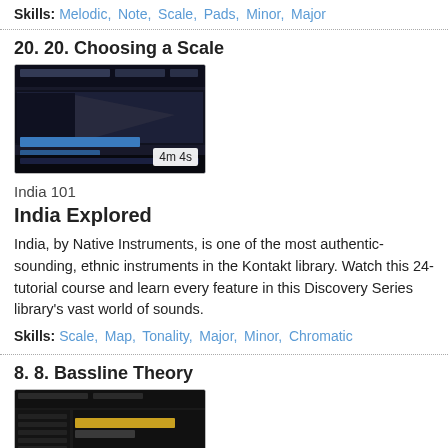Skills: Melodic, Note, Scale, Pads, Minor, Major
20. 20. Choosing a Scale
[Figure (screenshot): Screenshot of music software interface with dark UI showing a scale chooser, duration label: 4m 4s]
India 101
India Explored
India, by Native Instruments, is one of the most authentic-sounding, ethnic instruments in the Kontakt library. Watch this 24-tutorial course and learn every feature in this Discovery Series library's vast world of sounds.
Skills: Scale, Map, Tonality, Major, Minor, Chromatic
8. 8. Bassline Theory
[Figure (screenshot): Screenshot of music software interface with dark UI showing a bassline editor, duration label: 6m 26s]